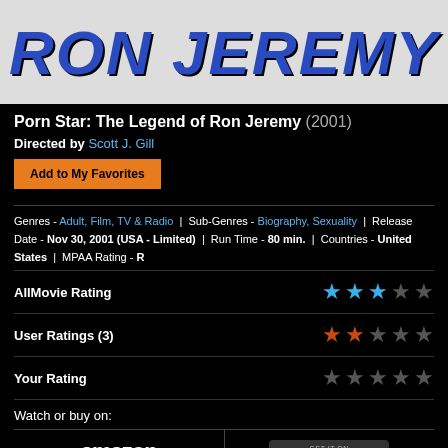[Figure (screenshot): Top banner showing 'RON JEREMY' text in large bold blue italic letters on a light/white background]
Porn Star: The Legend of Ron Jeremy (2001)
Directed by Scott J. Gill
Add to My Favorites
Genres - Adult, Film, TV & Radio | Sub-Genres - Biography, Sexuality | Release Date - Nov 30, 2001 (USA - Limited) | Run Time - 80 min. | Countries - United States | MPAA Rating - R
AllMovie Rating
User Ratings (3)
Your Rating
Watch or buy on:
[Figure (logo): Amazon logo in white text with orange arrow swoosh underneath]
[Figure (logo): Google Play logo badge - GET IT ON Google Play]
Watch SEE - S2